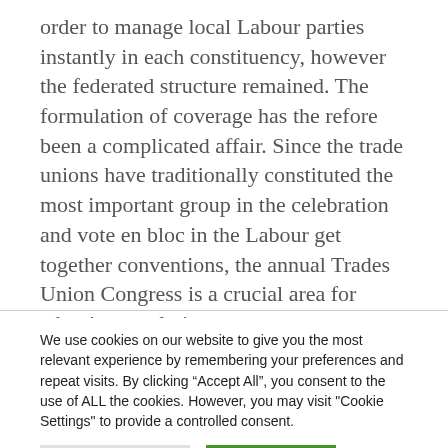order to manage local Labour parties instantly in each constituency, however the federated structure remained. The formulation of coverage has the refore been a complicated affair. Since the trade unions have traditionally constituted the most important group in the celebration and vote en bloc in the Labour get together conventions, the annual Trades Union Congress is a crucial area for adopting resolutions.
We use cookies on our website to give you the most relevant experience by remembering your preferences and repeat visits. By clicking "Accept All", you consent to the use of ALL the cookies. However, you may visit "Cookie Settings" to provide a controlled consent.